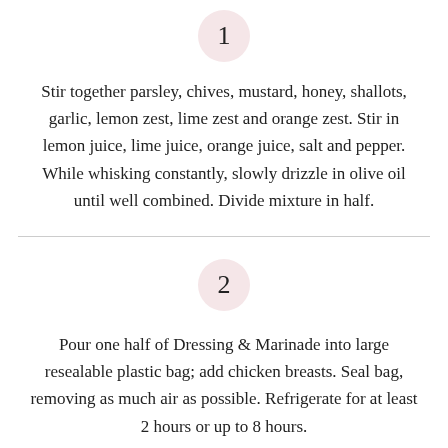1
Stir together parsley, chives, mustard, honey, shallots, garlic, lemon zest, lime zest and orange zest. Stir in lemon juice, lime juice, orange juice, salt and pepper. While whisking constantly, slowly drizzle in olive oil until well combined. Divide mixture in half.
2
Pour one half of Dressing & Marinade into large resealable plastic bag; add chicken breasts. Seal bag, removing as much air as possible. Refrigerate for at least 2 hours or up to 8 hours.